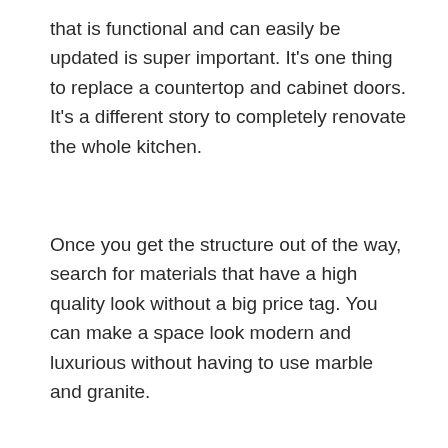that is functional and can easily be updated is super important. It's one thing to replace a countertop and cabinet doors. It's a different story to completely renovate the whole kitchen.
Once you get the structure out of the way, search for materials that have a high quality look without a big price tag. You can make a space look modern and luxurious without having to use marble and granite.
I have seen so many people put in expensive goodies and never fix the bad flow. Spend the money on the layout — it